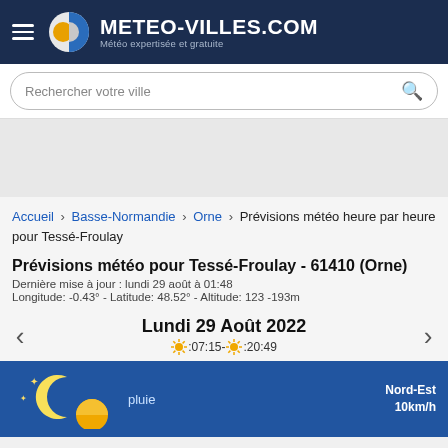METEO-VILLES.COM — Météo expertisée et gratuite
Rechercher votre ville
Accueil › Basse-Normandie › Orne › Prévisions météo heure par heure pour Tessé-Froulay
Prévisions météo pour Tessé-Froulay - 61410 (Orne)
Dernière mise à jour : lundi 29 août à 01:48
Longitude: -0.43° - Latitude: 48.52° - Altitude: 123 -193m
Lundi 29 Août 2022
☀:07:15-☀:20:49
Nord-Est 10km/h
pluie